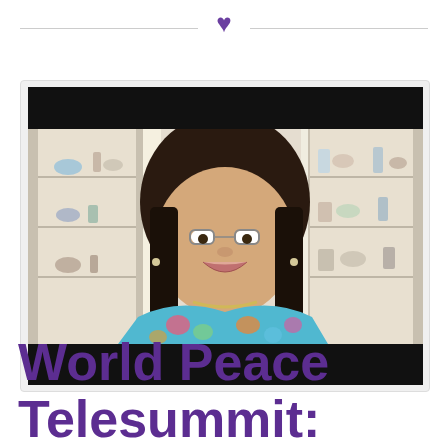[Figure (photo): Decorative header with a purple heart icon centered between two horizontal gray lines]
[Figure (screenshot): Video screenshot of a smiling woman with dark hair wearing glasses and a colorful blue/pink floral top, seated in front of a glass display cabinet filled with decorative objects. Black letterbox bars on top and bottom.]
World Peace Telesummit: